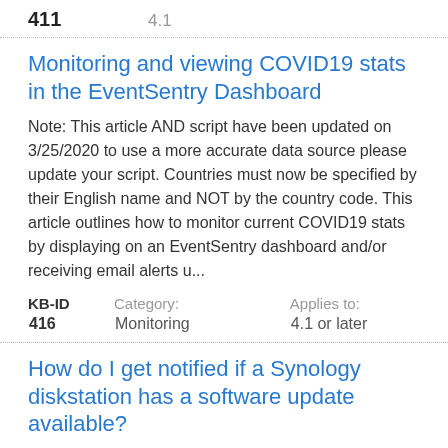411	4.1
Monitoring and viewing COVID19 stats in the EventSentry Dashboard
Note: This article AND script have been updated on 3/25/2020 to use a more accurate data source please update your script. Countries must now be specified by their English name and NOT by the country code. This article outlines how to monitor current COVID19 stats by displaying on an EventSentry dashboard and/or receiving email alerts u...
| KB-ID | Category: | Applies to: |
| --- | --- | --- |
| 416 | Monitoring | 4.1 or later |
How do I get notified if a Synology diskstation has a software update available?